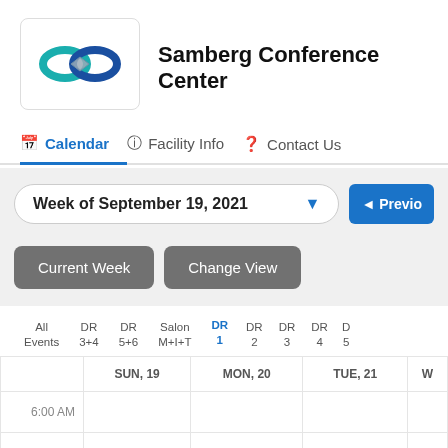[Figure (logo): Samberg Conference Center infinity loop logo in teal and dark blue with overlapping circles and diamond shapes]
Samberg Conference Center
Calendar | Facility Info | Contact Us
Week of September 19, 2021
◄ Previo
Current Week
Change View
| All Events | DR 3+4 | DR 5+6 | Salon M+I+T | DR 1 | DR 2 | DR 3 | DR 4 | D 5 |
| --- | --- | --- | --- | --- | --- | --- | --- | --- |
|  | SUN, 19 | MON, 20 | TUE, 21 | W |
| --- | --- | --- | --- | --- |
| 6:00 AM |  |  |  |
| 6:30 AM |  |  |  |